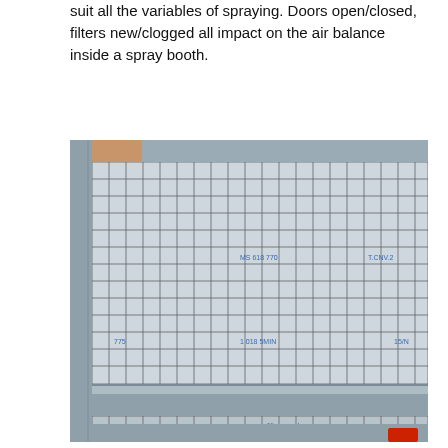suit all the variables of spraying. Doors open/closed, filters new/clogged all impact on the air balance inside a spray booth.
[Figure (photo): Interior upward-looking photograph of a spray booth ceiling showing two large gridded filter panels mounted in metal frames. The upper panel occupies most of the frame with a uniform square grid pattern and faint printed markings. A metal bar separates it from a smaller lower filter panel. A person's thumb is partially visible in the upper-left corner.]